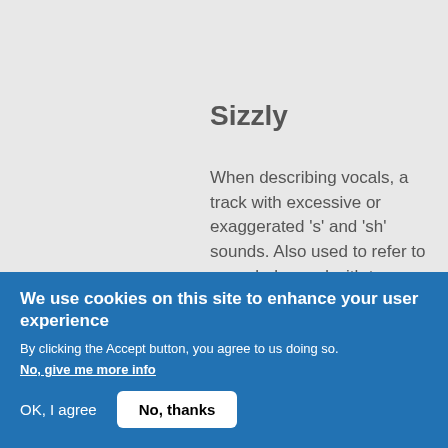Sizzly
When describing vocals, a track with excessive or exaggerated 's' and 'sh' sounds. Also used to refer to a cymbal sound with too many high frequencies.
Slapback
A repetition of a sound approximately
We use cookies on this site to enhance your user experience
By clicking the Accept button, you agree to us doing so.
No, give me more info
OK, I agree
No, thanks